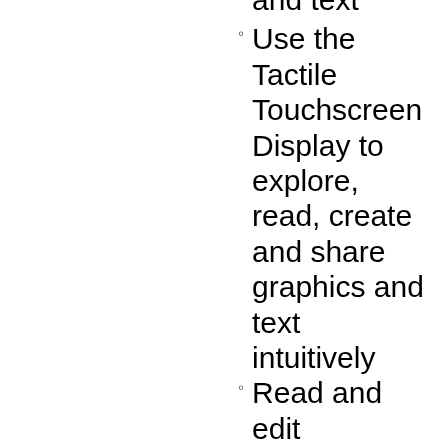and text
Use the Tactile Touchscreen Display to explore, read, create and share graphics and text intuitively
Read and edit